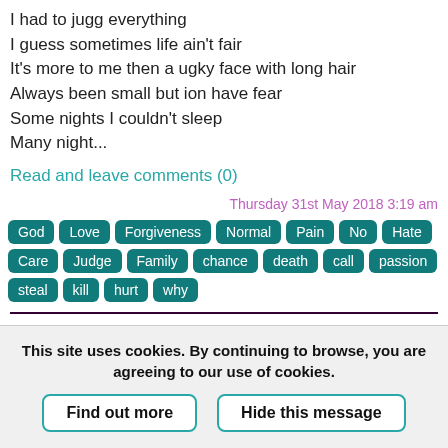I had to jugg everything
I guess sometimes life ain't fair
It's more to me then a ugky face with long hair
Always been small but ion have fear
Some nights I couldn't sleep
Many night...
Read and leave comments (0)
Thursday 31st May 2018 3:19 am
God Love Forgiveness Normal Pain No Hate Care Judge Family chance death call passion steal kill hurt why
ðə króz ləmɛ́nt
by Ian Whiteley
This site uses cookies. By continuing to browse, you are agreeing to our use of cookies.